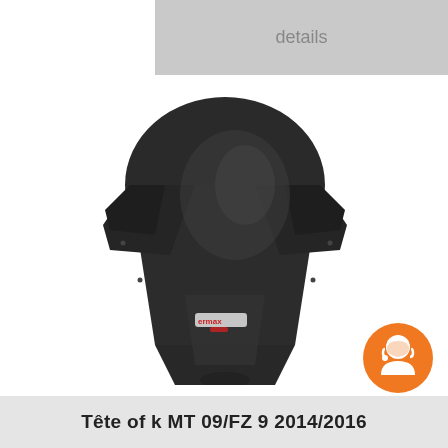[Figure (screenshot): Gray details bar at top of page]
[Figure (photo): Black motorcycle windscreen/fairing product (Ermax brand) for Yamaha MT-09/FZ-9 2014/2016, shown from front against white background. Has curved aerodynamic shape with two side wings and an Ermax logo badge.]
[Figure (logo): Orange circular badge with white motorcycle helmet/rider icon (customer service or chat icon)]
Tête of k MT 09/FZ 9 2014/2016